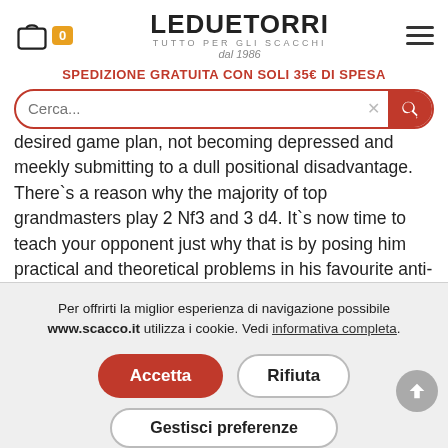LE DUE TORRI TUTTO PER GLI SCACCHI dal 1986
SPEDIZIONE GRATUITA CON SOLI 35€ DI SPESA
desired game plan, not becoming depressed and meekly submitting to a dull positional disadvantage. There`s a reason why the majority of top grandmasters play 2 Nf3 and 3 d4. It`s now time to teach your opponent just why that is by posing him practical and theoretical problems in his favourite anti-
Per offrirti la miglior esperienza di navigazione possibile www.scacco.it utilizza i cookie. Vedi informativa completa.
Accetta
Rifiuta
Gestisci preferenze
Casa editrice    Everyman Chess